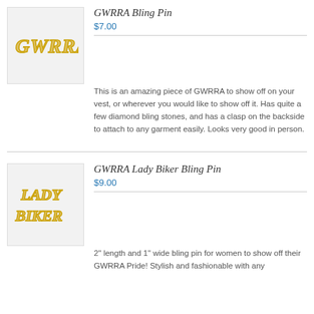[Figure (photo): Photo of GWRRA Bling Pin in gold rhinestone letters]
GWRRA Bling Pin
$7.00
This is an amazing piece of GWRRA to show off on your vest, or wherever you would like to show off it.  Has quite a few diamond bling stones, and has a clasp on the backside to attach to any garment easily.  Looks very good in person.
[Figure (photo): Photo of GWRRA Lady Biker Bling Pin in gold rhinestone letters spelling LADY BIKER]
GWRRA Lady Biker Bling Pin
$9.00
2" length and 1" wide bling pin for women to show off their GWRRA Pride! Stylish and fashionable with any